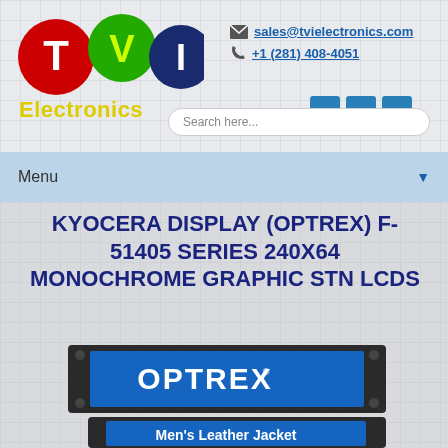[Figure (logo): TVI Electronics logo with colored circle letters T (red), V (green), I (blue) and yellow 'Electronics' text below]
sales@tvielectronics.com
+1 (281) 408-4051
[Figure (other): Three blue social media icon squares]
Search here...
Menu
KYOCERA DISPLAY (OPTREX) F-51405 SERIES 240X64 MONOCHROME GRAPHIC STN LCDS
[Figure (photo): Optrex branded black-framed LCD module display showing blue and white Optrex logo, with a second partially visible LCD module below showing 'Men's Leather Jacket' text]